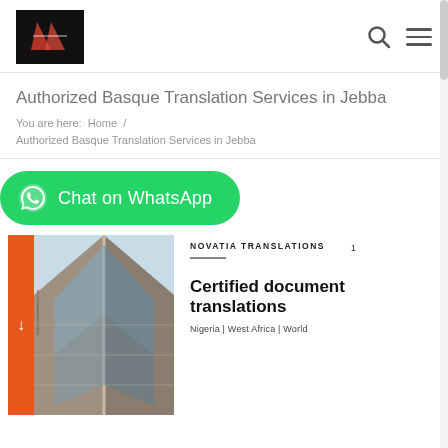[Figure (logo): Novatia Translations logo — white/red emblem on black background]
Authorized Basque Translation Services in Jebba
You are here:  Home  /
Authorized Basque Translation Services in Jebba
[Figure (other): Green WhatsApp Chat button with WhatsApp icon and text 'Chat on WhatsApp']
[Figure (photo): Novatia Translations brochure: photo of a tall modern building from below, with orange download tab, brand name 'NOVATIA TRANSLATIONS', number '1', and text 'Certified document translations, Nigeria | West Africa | World']